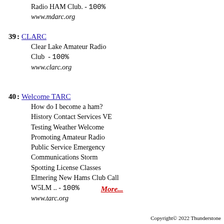Radio HAM Club.  -  100%
www.mdarc.org
39: CLARC
Clear Lake Amateur Radio Club  -  100%
www.clarc.org
40: Welcome TARC
How do I become a ham? History Contact Services VE Testing Weather Welcome Promoting Amateur Radio Public Service Emergency Communications Storm Spotting License Classes Elmering New Hams Club Call W5LM ..  -  100%
www.tarc.org
More...
Copyright© 2022 Thunderstone